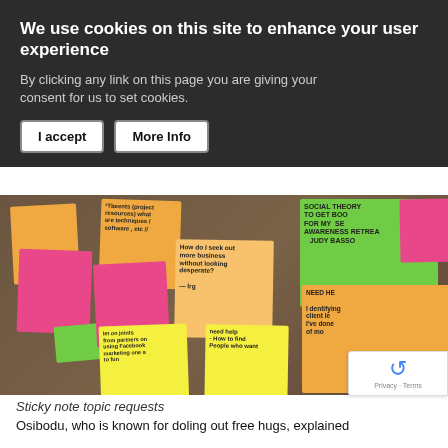We use cookies on this site to enhance your user experience
By clicking any link on this page you are giving your consent for us to set cookies.
[Figure (photo): A corkboard covered with colorful sticky notes (orange, pink, yellow, green) containing handwritten text including topic requests such as 'How do I seek out more business without looking desperate?', 'SOCIAL THEORY TO GET BOO FOR MY AWARENESS RETREAT JUDY BASSO', 'NEED HELP identifying client len I've done of mo', 'need help - How to find People who want']
Sticky note topic requests
Osibodu, who is known for doling out free hugs, explained